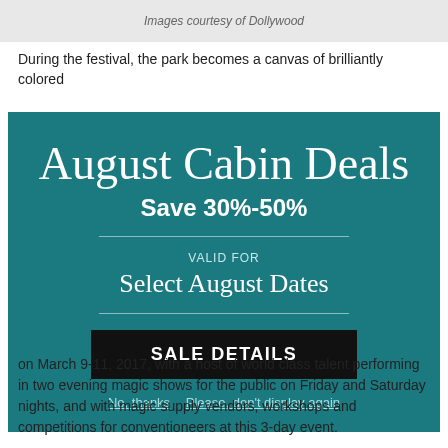Images courtesy of Dollywood
During the festival, the park becomes a canvas of brilliantly colored
[Figure (other): Promotional modal popup for August Cabin Deals offering Save 30%-50% discount, valid for Select August Dates, with a SALE DETAILS button and dismiss links]
on March 9-11, 2017, with a host of world class talent performing in two evening magic shows for the public on Friday and Saturday nights, and with magic supply vendors, workshops and competitions for conventioneers at this 3-day event.